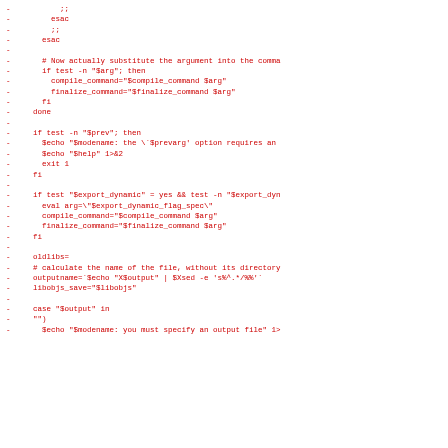Diff/patch code block showing removed lines (prefixed with -) of shell script code